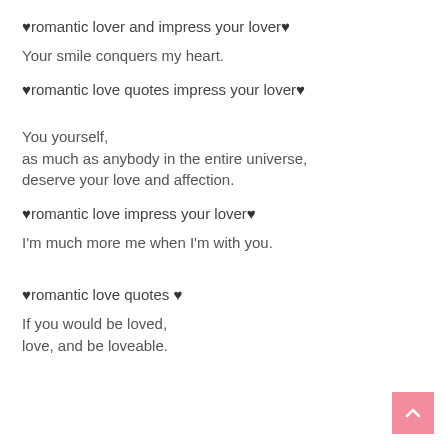♥romantic lover and impress your lover♥
Your smile conquers my heart.
♥romantic love quotes impress your lover♥
You yourself,
as much as anybody in the entire universe,
deserve your love and affection.
♥romantic love impress your lover♥
I'm much more me when I'm with you.
♥romantic love quotes ♥
If you would be loved,
love, and be loveable.